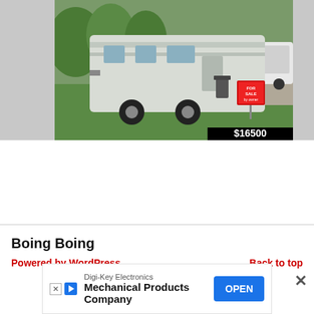[Figure (photo): A travel trailer/RV parked in a driveway next to a lawn with a 'For Sale' sign in front, and a white truck visible in the background. A price overlay reads '$16500' on the bottom right of the image.]
Boing Boing
Powered by WordPress
Back to top
[Figure (other): Advertisement banner for Digi-Key Electronics showing 'Mechanical Products Company' with an OPEN button.]